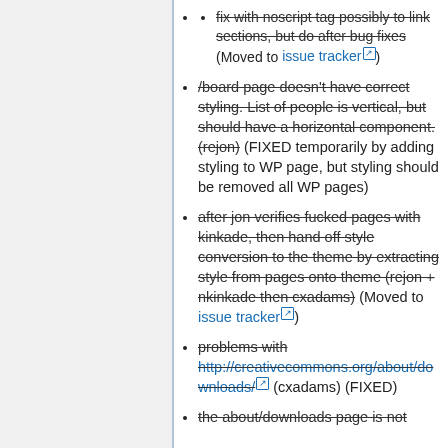fix with noscript tag possibly to link sections, but do after bug fixes (Moved to issue tracker)
/board page doesn't have correct styling. List of people is vertical, but should have a horizontal component. (rejon) (FIXED temporarily by adding styling to WP page, but styling should be removed all WP pages)
after jon verifies fucked pages with kinkade, then hand off style conversion to the theme by extracting style from pages onto theme (rejon + nkinkade then cxadams) (Moved to issue tracker)
problems with http://creativecommons.org/about/downloads/ (cxadams) (FIXED)
the about/downloads page is not